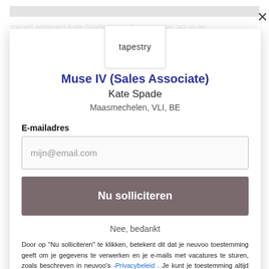you will represent Kate Spade the consumer, act as an ambassador of the brand, ensure customers' needs are consistently exceeded.
PROFILE
The successful candidate will demonstrate the following proficiencies
Understand how individual productivity impacts the store
be a brand ambassador
effectively achieve sales goals
Able to work with multiple customers simultaneously
[Figure (logo): Tapestry logo in a white box]
Muse IV (Sales Associate)
Kate Spade
Maasmechelen, VLI, BE
E-mailadres
mijn@email.com
Nu solliciteren
Nee, bedankt
Door op "Nu solliciteren" te klikken, betekent dit dat je neuvoo toestemming geeft om je gegevens te verwerken en je e-mails met vacatures te sturen, zoals beschreven in neuvoo's -Privacybeleid . Je kunt je toestemming altijd intrekken